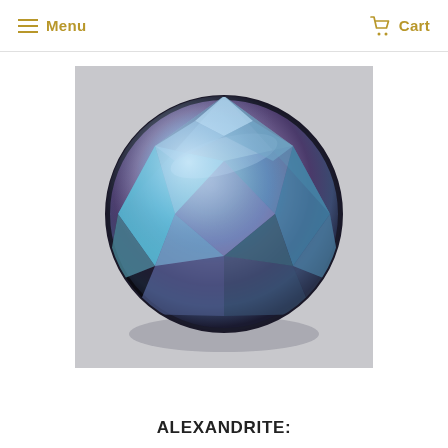Menu   Cart
[Figure (photo): A round brilliant-cut alexandrite gemstone displaying blue-teal and purple hues, photographed on a light grey background.]
ALEXANDRITE: